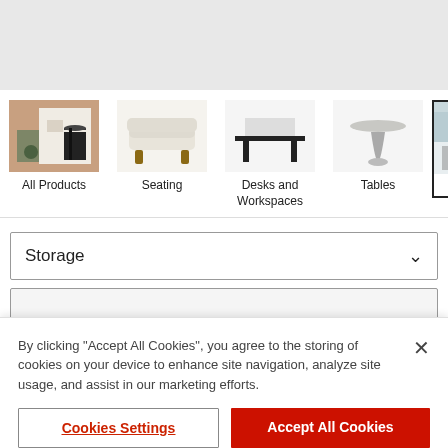[Figure (screenshot): Gray header area at top of webpage]
[Figure (screenshot): Product navigation strip with All Products, Seating, Desks and Workspaces, Tables, Storage categories with product images]
All Products
Seating
Desks and Workspaces
Tables
Storage
Storage ∨
By clicking "Accept All Cookies", you agree to the storing of cookies on your device to enhance site navigation, analyze site usage, and assist in our marketing efforts.
Cookies Settings
Accept All Cookies